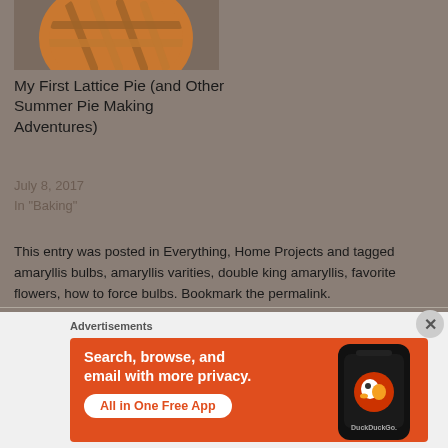[Figure (photo): Photo of a lattice-top pie in a round metal pan, viewed from above on a grey surface]
My First Lattice Pie (and Other Summer Pie Making Adventures)
July 8, 2017
In "Baking"
This entry was posted in Everything, Home Projects and tagged amaryllis bulbs, amaryllis varities, double king amaryllis, favorite flowers, how to force bulbs. Bookmark the permalink.
Advertisements
[Figure (other): DuckDuckGo advertisement banner on orange background: 'Search, browse, and email with more privacy. All in One Free App' with a phone image and DuckDuckGo logo]